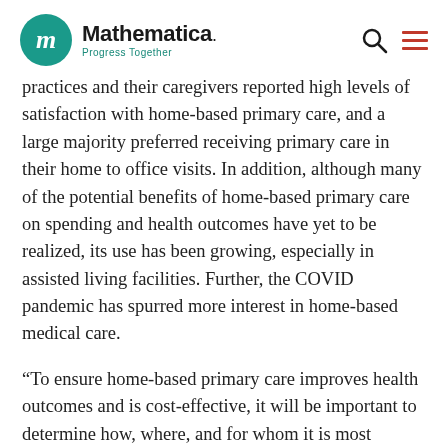Mathematica. Progress Together
practices and their caregivers reported high levels of satisfaction with home-based primary care, and a large majority preferred receiving primary care in their home to office visits. In addition, although many of the potential benefits of home-based primary care on spending and health outcomes have yet to be realized, its use has been growing, especially in assisted living facilities. Further, the COVID pandemic has spurred more interest in home-based medical care.
“To ensure home-based primary care improves health outcomes and is cost-effective, it will be important to determine how, where, and for whom it is most successful,” said Laura Kimmey, principal